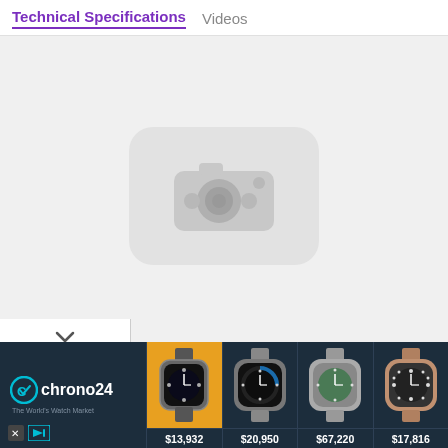Technical Specifications   Videos
[Figure (screenshot): Video player placeholder area with YouTube-style icon showing a camera/video icon on a light gray background]
[Figure (infographic): Chrono24 advertisement banner showing logo 'The World's Watch Market' and four Rolex watches with prices: $13,932, $20,950, $67,220, $17,816]